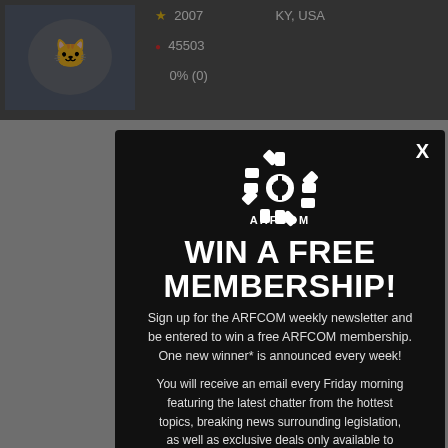[Figure (screenshot): Background of a website (ARFCOM) showing a user profile bar with avatar image of a cat eating corn in front of an American flag, user stats (2007, 45503, 0% (0)), location KY, USA, and partial page content below, all dimmed behind a modal overlay.]
[Figure (infographic): ARFCOM modal popup with gear logo, headline 'WIN A FREE MEMBERSHIP!', subscription pitch text, and an email input field at the bottom. Close button (X) in top right corner.]
WIN A FREE MEMBERSHIP!
Sign up for the ARFCOM weekly newsletter and be entered to win a free ARFCOM membership. One new winner* is announced every week!
You will receive an email every Friday morning featuring the latest chatter from the hottest topics, breaking news surrounding legislation, as well as exclusive deals only available to ARFCOM email subscribers.